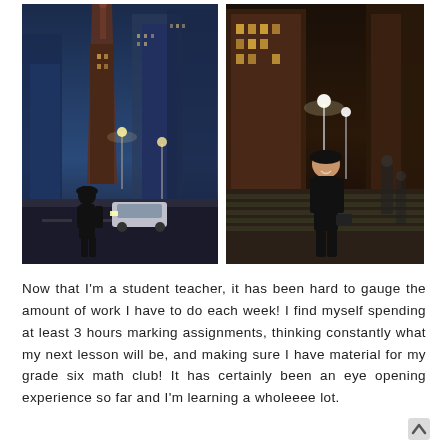[Figure (photo): Two side-by-side night photography photos of a woman wearing a black hat and coat standing on a city street with tall buildings and bright lights in the background (Toronto)]
Now that I'm a student teacher, it has been hard to gauge the amount of work I have to do each week! I find myself spending at least 3 hours marking assignments, thinking constantly what my next lesson will be, and making sure I have material for my grade six math club! It has certainly been an eye opening experience so far and I'm learning a wholeeee lot.